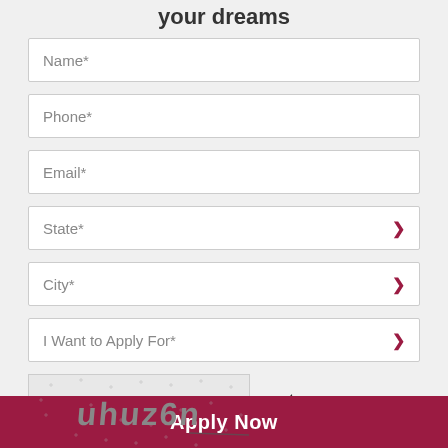your dreams
Name*
Phone*
Email*
State*
City*
I Want to Apply For*
[Figure (other): CAPTCHA image showing distorted text 'uhuz6n' with noise dots and a strikethrough line, plus a refresh icon]
Type above captcha code here
Apply Now